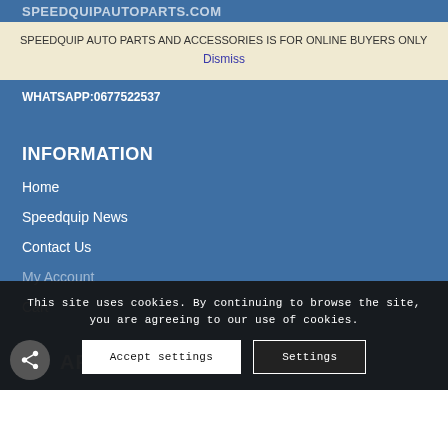SPEEDQUIPAUTOPARTS.COM
SPEEDQUIP AUTO PARTS AND ACCESSORIES IS FOR ONLINE BUYERS ONLY
Dismiss
WHATSAPP:0677522537
INFORMATION
Home
Speedquip News
Contact Us
My Account
Cart
This site uses cookies. By continuing to browse the site, you are agreeing to our use of cookies.
Accept settings
Settings